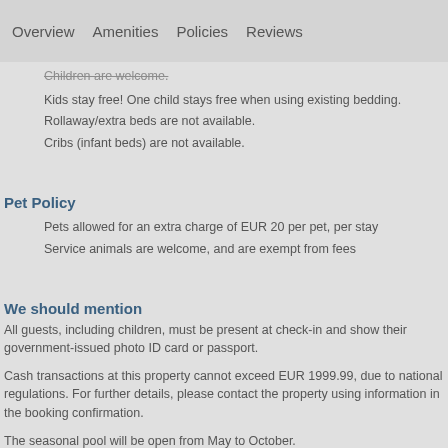Overview   Amenities   Policies   Reviews
Children are welcome.
Kids stay free! One child stays free when using existing bedding.
Rollaway/extra beds are not available.
Cribs (infant beds) are not available.
Pet Policy
Pets allowed for an extra charge of EUR 20 per pet, per stay
Service animals are welcome, and are exempt from fees
We should mention
All guests, including children, must be present at check-in and show their government-issued photo ID card or passport.
Cash transactions at this property cannot exceed EUR 1999.99, due to national regulations. For further details, please contact the property using information in the booking confirmation.
The seasonal pool will be open from May to October.